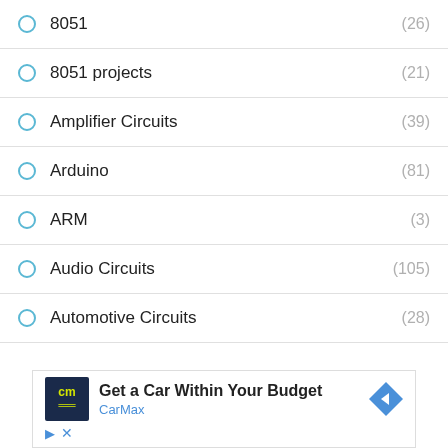8051 (26)
8051 projects (21)
Amplifier Circuits (39)
Arduino (81)
ARM (3)
Audio Circuits (105)
Automotive Circuits (28)
[Figure (other): Advertisement for CarMax: Get a Car Within Your Budget with CarMax logo and navigation arrow icon]